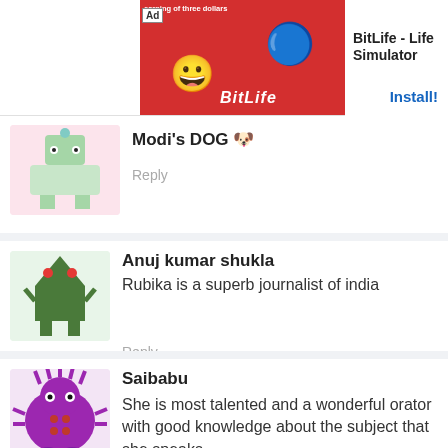[Figure (screenshot): Top advertisement banner for BitLife - Life Simulator app with red background, cartoon smiley, and Install button]
Modi's DOG 🐶
Reply
Anuj kumar shukla
Rubika is a superb journalist of india
Reply
Saibabu
She is most talented and a wonderful orator with good knowledge about the subject that she speaks.